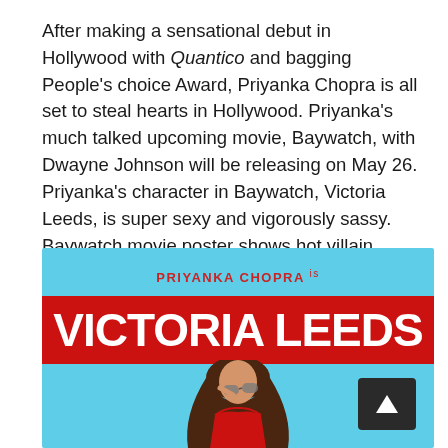After making a sensational debut in Hollywood with Quantico and bagging People's choice Award, Priyanka Chopra is all set to steal hearts in Hollywood. Priyanka's much talked upcoming movie, Baywatch, with Dwayne Johnson will be releasing on May 26. Priyanka's character in Baywatch, Victoria Leeds, is super sexy and vigorously sassy. Baywatch movie poster shows hot villain Victoria Leeds new look.
[Figure (photo): Baywatch movie promotional poster showing 'PRIYANKA CHOPRA is VICTORIA LEEDS' in bold white text on a red banner, with a light blue background and a woman in a red outfit pulling down sunglasses. A dark navigation arrow button is in the bottom-right corner.]